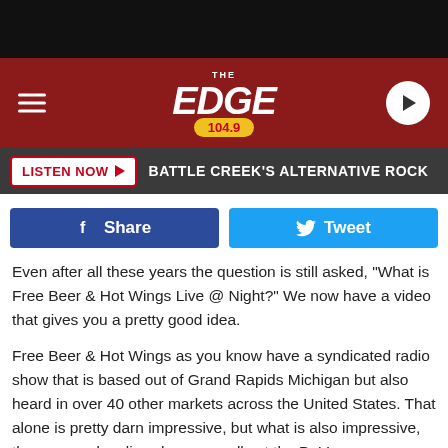[Figure (screenshot): The Edge 104.9 radio station website header with red background, station logo, hamburger menu, play button, listen now bar, social share buttons, and article text about Free Beer & Hot Wings Live @ Night.]
Even after all these years the question is still asked, "What is Free Beer & Hot Wings Live @ Night?" We now have a video that gives you a pretty good idea.
Free Beer & Hot Wings as you know have a syndicated radio show that is based out of Grand Rapids Michigan but also heard in over 40 other markets across the United States. That alone is pretty darn impressive, but what is also impressive, these guys do a live show annually at the DeVos Performance Hall that continues to sell out year after year.